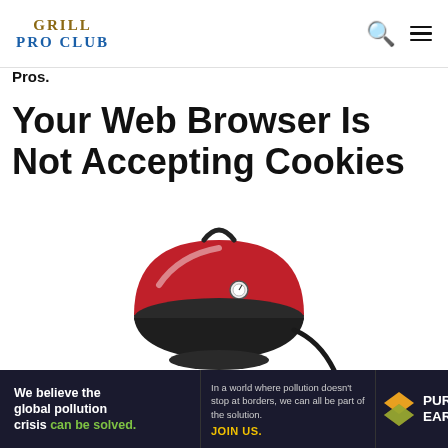GRILL PRO CLUB
Pros.
Your Web Browser Is Not Accepting Cookies
[Figure (photo): A red electric outdoor grill with a domed lid, built-in thermometer, black base, and electrical cord, shown on a pedestal stand against a white background.]
[Figure (infographic): Pure Earth advertisement banner. Left side dark background text: 'We believe the global pollution crisis can be solved.' (with 'can be solved.' in green). Middle section: 'In a world where pollution doesn't stop at borders, we can all be part of the solution. JOIN US.' Right section: Pure Earth logo with diamond/chevron icon and 'PURE EARTH' text in white.]